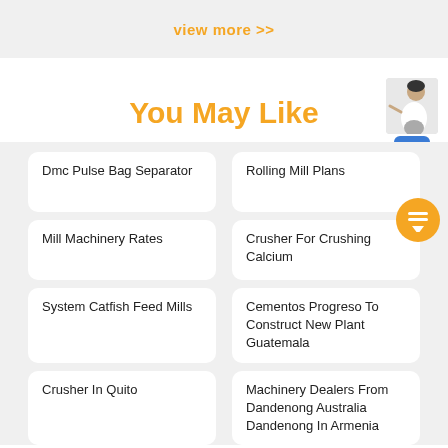view more >>
You May Like
Dmc Pulse Bag Separator
Rolling Mill Plans
Mill Machinery Rates
Crusher For Crushing Calcium
System Catfish Feed Mills
Cementos Progreso To Construct New Plant Guatemala
Crusher In Quito
Machinery Dealers From Dandenong Australia Dandenong In Armenia